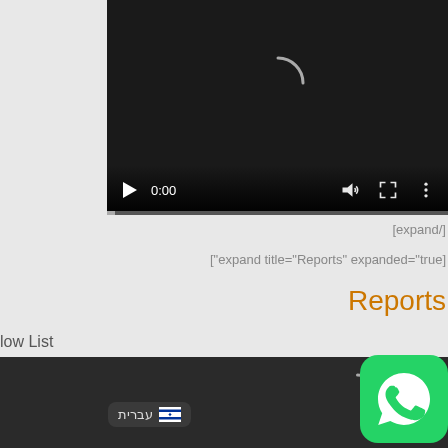[Figure (screenshot): Video player UI with dark background showing a loading spinner arc, playback controls (play button, 0:00 timestamp, volume, fullscreen, more options icons), and a progress bar at the bottom.]
[expand/]
["expand title="Reports" expanded="true]
Reports
low List
[Figure (screenshot): Bottom strip showing a dark video area with a Hebrew language selector button (עברית with Israeli flag), a loading spinner arc, and a WhatsApp icon on the right.]